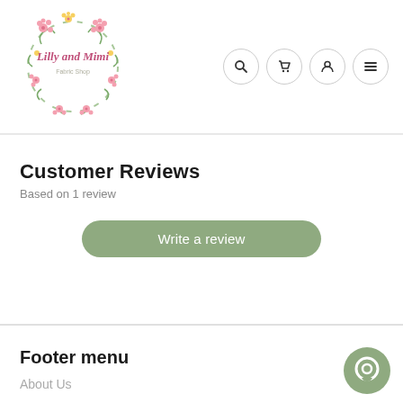[Figure (logo): Lilly and Mimi Fabric Shop logo: circular floral wreath with pink handwritten text]
[Figure (infographic): Navigation icons: search (magnifying glass), cart, user/account, and hamburger menu — each in a circle]
Customer Reviews
Based on 1 review
Write a review
Footer menu
About Us